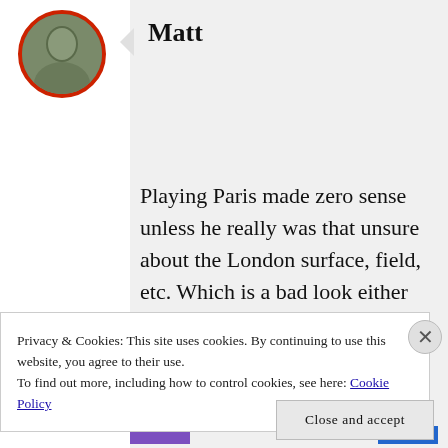[Figure (photo): Circular avatar photo of a person, with a red border, on white left panel background]
Matt
Playing Paris made zero sense unless he really was that unsure about the London surface, field, etc. Which is a bad look either way. Have to play and represent in London.
Privacy & Cookies: This site uses cookies. By continuing to use this website, you agree to their use.
To find out more, including how to control cookies, see here: Cookie Policy
Close and accept